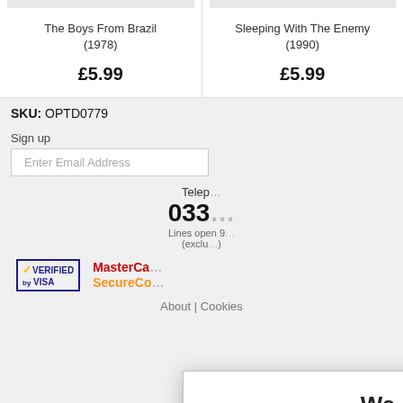[Figure (screenshot): Two product cards showing movie DVDs: 'The Boys From Brazil (1978)' at £5.99 and 'Sleeping With The Enemy (1990)' at £5.99]
SKU: OPTD0779
Sign up
Enter Email Address
Telephone
033...
Lines open 9... (exclu...
[Figure (logo): Verified by Visa logo and MasterCard SecureCode logo]
About | Cookies
[Figure (screenshot): Cookie consent modal dialog box with title 'We use cookies', explanatory text, links 'here' for reading about cookies and changing cookie settings, and a Continue button]